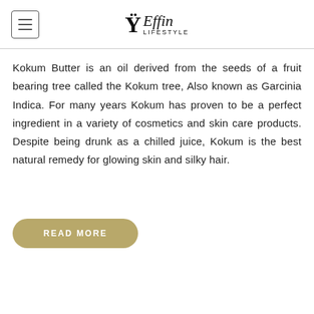Effin Lifestyle
Kokum Butter is an oil derived from the seeds of a fruit bearing tree called the Kokum tree, Also known as Garcinia Indica. For many years Kokum has proven to be a perfect ingredient in a variety of cosmetics and skin care products. Despite being drunk as a chilled juice, Kokum is the best natural remedy for glowing skin and silky hair.
READ MORE